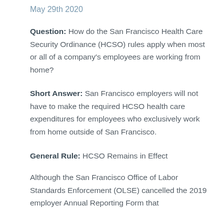May 29th 2020
Question: How do the San Francisco Health Care Security Ordinance (HCSO) rules apply when most or all of a company's employees are working from home?
Short Answer: San Francisco employers will not have to make the required HCSO health care expenditures for employees who exclusively work from home outside of San Francisco.
General Rule: HCSO Remains in Effect
Although the San Francisco Office of Labor Standards Enforcement (OLSE) cancelled the 2019 employer Annual Reporting Form that